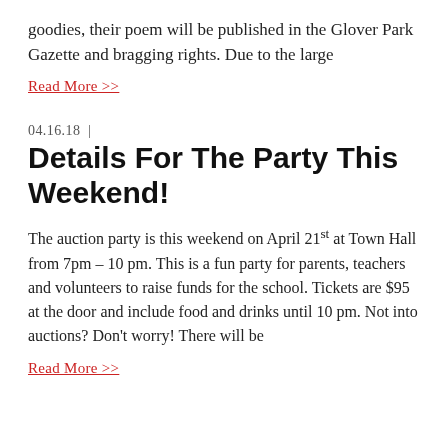goodies, their poem will be published in the Glover Park Gazette and bragging rights. Due to the large
Read More >>
04.16.18  |
Details For The Party This Weekend!
The auction party is this weekend on April 21st at Town Hall from 7pm – 10 pm. This is a fun party for parents, teachers and volunteers to raise funds for the school. Tickets are $95 at the door and include food and drinks until 10 pm. Not into auctions? Don't worry! There will be
Read More >>